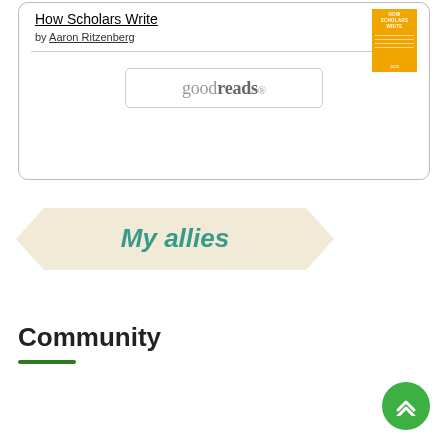How Scholars Write
by Aaron Ritzenberg
[Figure (logo): Goodreads logo in a rounded rectangle button]
[Figure (illustration): Book cover thumbnail: orange cover with white text 'HOW SCHOLARS WRITE' by Aaron Ritzenberg]
My allies
Community